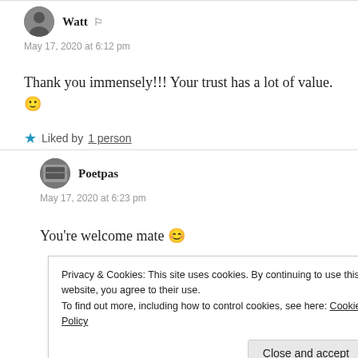Watt
May 17, 2020 at 6:12 pm
Thank you immensely!!! Your trust has a lot of value. 🙂
Liked by 1 person
Poetpas
May 17, 2020 at 6:23 pm
You're welcome mate 😊
Privacy & Cookies: This site uses cookies. By continuing to use this website, you agree to their use. To find out more, including how to control cookies, see here: Cookie Policy
Close and accept